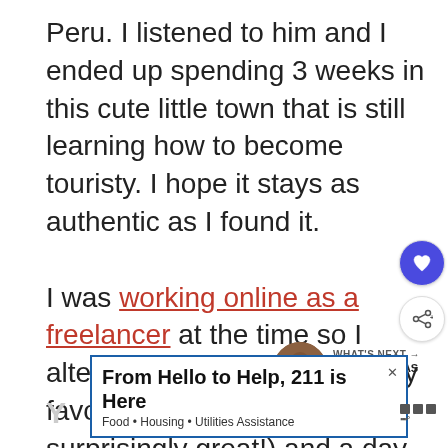Peru. I listened to him and I ended up spending 3 weeks in this cute little town that is still learning how to become touristy. I hope it stays as authentic as I found it.

I was working online as a freelancer at the time so I alternated working days at my favorite cafes (yes, WIFI was surprisingly great!) and a day of exploration where I would venture off-the-beaten-path places, such as the
[Figure (other): Heart (like) icon button in a circle]
[Figure (other): Share icon button in a circle]
[Figure (other): What's Next thumbnail - circular photo of Chachapoyas Peru with label 'WHAT'S NEXT → CHACHAPOYAS PERU - 9...']
[Figure (other): Advertisement banner: 'From Hello to Help, 211 is Here' with subtitle 'Food · Housing · Utilities Assistance']